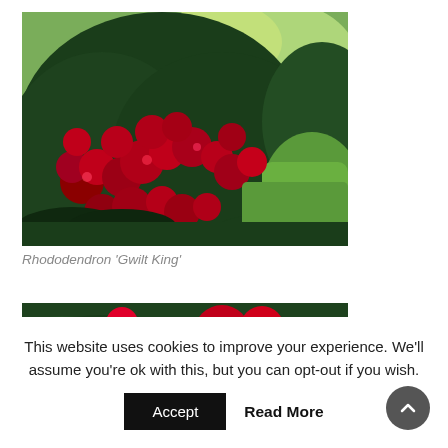[Figure (photo): Large rhododendron bush covered in red flowers photographed outdoors with green trees in the background.]
Rhododendron 'Gwilt King'
[Figure (photo): Close-up of red rhododendron flowers with green foliage, partially visible at bottom of page.]
This website uses cookies to improve your experience. We'll assume you're ok with this, but you can opt-out if you wish.
Accept   Read More